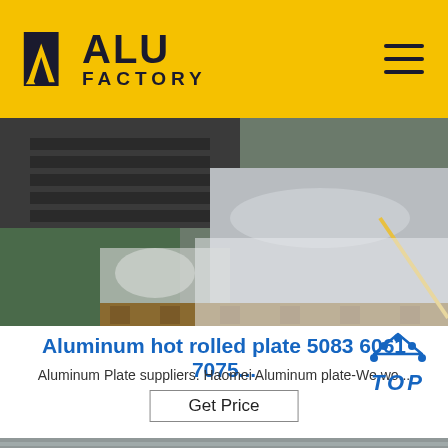[Figure (logo): ALU FACTORY logo with yellow background header bar and hamburger menu icon]
[Figure (photo): Aluminum hot rolled plates stacked in factory, wrapped in plastic, with metal press visible]
Aluminum hot rolled plate 5083 6061 7075...
Aluminum Plate suppliers. Haomei Aluminum plate-We wo...
Get Price
[Figure (photo): Bottom portion of aluminum sheet/plate product photo]